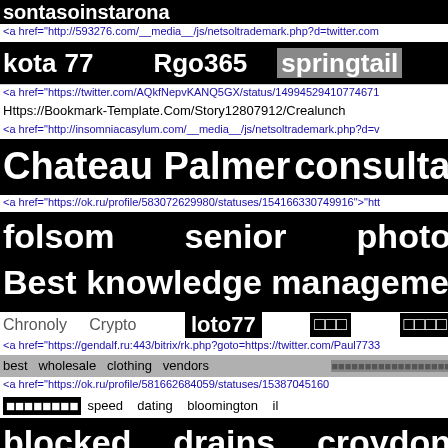sontasoinstarona
<a href="http://593276.com/__media__/js/netsoltrademark.php?d=twitter.com
kota   77   Rgo365   springtail
<a href="https://twitter.com/AQkfNepvKANQ5GX/status/14994529410774671
Https://Bookmark-Template.Com/Story12807912/Crealunch
<a href="http://insomniacasylum.com/__media__/js/netsoltrademark.php?d=v
Chateau Palmer   consulta de curp
<a href="https://ok.ru/profile/583072629980/statuses/154166330749916">"htt
folsom   senior   photo
Best knowledge management system f
Chronoly   Crypto   loto77   □□□   □□□□
<a href="https://gendalf.ru:443/bitrix/rk.php?goto=https://twitter.com/Paul7733
best   wholesale   clothing   vendors   □□□□□□□□□□□□□□□□□□
<a href="https://ok.ru/profile/581662684059/statuses/15387045160
□□□□□□□□   speed   dating   bloomington   il
blocked   drains   croydon
Epoxy   Counters   fox   news
local   SEO   around   Geneva   IL   best   short   term   cash   loans
cctv   drain   survey   desborough   sbobet88   apk
<a href="http://kameronrojoj.alltdesign.com/detailed-notes-on-how-
<a href="https://soschildren.ru/bitrix/redirect.php?goto=https://vk.com/wall-214
□□□□□□□□   FOX888   joy   organics
typography   t shirts